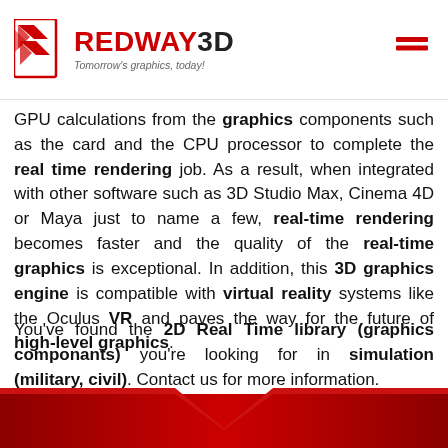REDWAY3D — Tomorrow's graphics, today!
GPU calculations from the graphics components such as the card and the CPU processor to complete the real time rendering job. As a result, when integrated with other software such as 3D Studio Max, Cinema 4D or Maya just to name a few, real-time rendering becomes faster and the quality of the real-time graphics is exceptional. In addition, this 3D graphics engine is compatible with virtual reality systems like the Oculus VR and paves the way for the future of high-level graphics.
You've found the 2D Real Time library (graphics componants) you're looking for in simulation (military, civil). Contact us for more information.